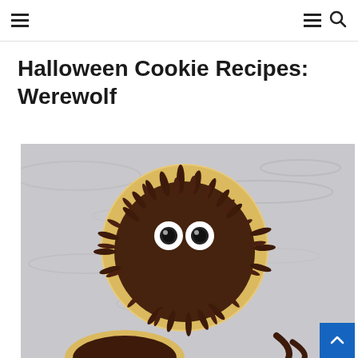≡  ≡ 🔍
Halloween Cookie Recipes: Werewolf
[Figure (photo): A round cookie decorated with chocolate buttercream piped to look like werewolf fur, with two candy eyeballs on a light grey fabric background. A second partially visible cookie is at the bottom.]